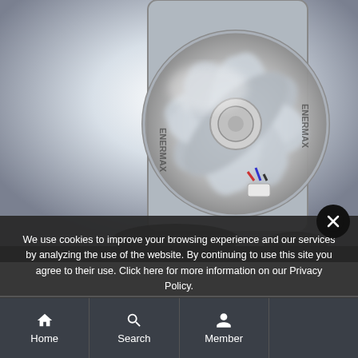[Figure (photo): Close-up photo of a spinning computer cooling fan with transparent blades, branded ENERMAX, showing internal fan motor mechanism with metallic/chrome appearance]
We use cookies to improve your browsing experience and our services by analyzing the use of the website. By continuing to use this site you agree to their use. Click here for more information on our Privacy Policy.
COMPARE
Home  Search  Member